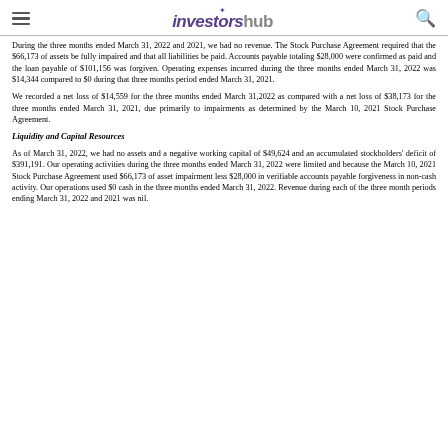investorshub
During the three months ended March 31, 2022 and 2021, we had no revenue. The Stock Purchase Agreement required that the $66,173 of assets be fully impaired and that all liabilities be paid. Accounts payable totaling $28,000 were confirmed as paid and the loan payable of $101,156 was forgiven. Operating expenses incurred during the three months ended March 31, 2022 was $14,344 compared to $0 during that three months period ended March 31, 2021.
We recorded a net loss of $14,559 for the three months ended March 31,2022 as compared with a net loss of $38,173 for the three months ended March 31, 2021, due primarily to impairments as determined by the March 10, 2021 Stock Purchase Agreement.
Liquidity and Capital Resources
As of March 31, 2022, we had no assets and a negative working capital of $49,624 and an accumulated stockholders' deficit of $391,191. Our operating activities during the three months ended March 31, 2022 were limited and because the March 10, 2021 Stock Purchase Agreement used $66,173 of asset impairment less $28,000 in verifiable accounts payable forgiveness in non-cash activity. Our operations used $0 cash in the three months ended March 31, 2022. Revenue during each of the three month periods ending March 31, 2022 and 2021 was nil.